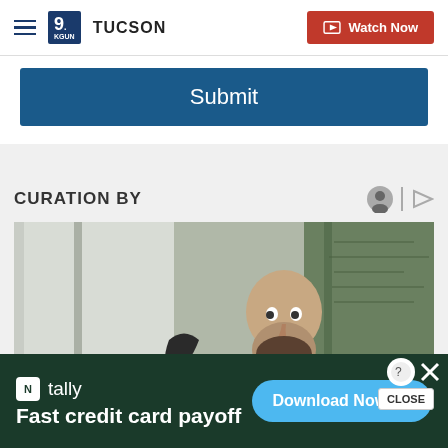9 TUCSON | Watch Now
Submit
CURATION BY
[Figure (photo): A bald man with a beard sitting at a desk, looking to the side thoughtfully, with a lamp and glass walls with writing in the background]
CLOSE
tally Fast credit card payoff | Download Now